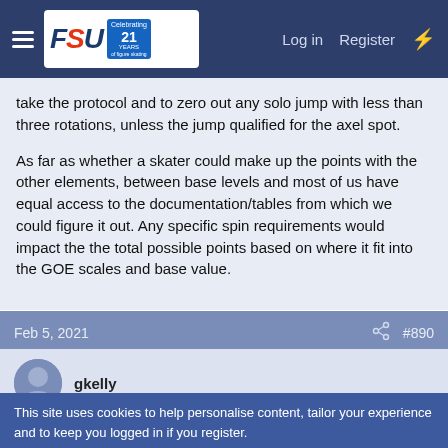[Figure (screenshot): Website navigation bar with FSU logo, hamburger menu, Log in, Register, and lightning icon links on dark blue background]
take the protocol and to zero out any solo jump with less than three rotations, unless the jump qualified for the axel spot.

As far as whether a skater could make up the points with the other elements, between base levels and most of us have equal access to the documentation/tables from which we could figure it out. Any specific spin requirements would impact the the total possible points based on where it fit into the GOE scales and base value.
Feb 5, 2021   #890
gkelly
This site uses cookies to help personalise content, tailor your experience and to keep you logged in if you register.
[Figure (screenshot): Advertisement for BELK: Denim all day. www.belk.com with close button and forward arrow]